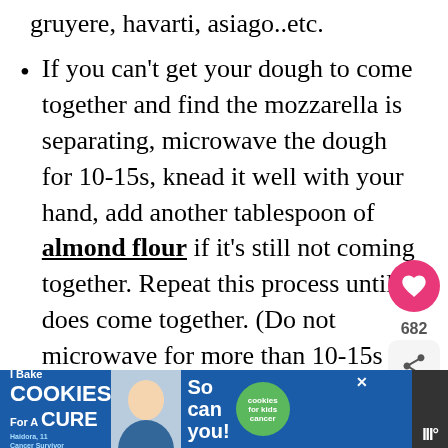gruyere, havarti, asiago..etc.
If you can't get your dough to come together and find the mozzarella is separating, microwave the dough for 10-15s, knead it well with your hand, add another tablespoon of almond flour if it's still not coming together. Repeat this process until it does come together. (Do not microwave for more than 10-15s at a time or you may end up cooking your dough.